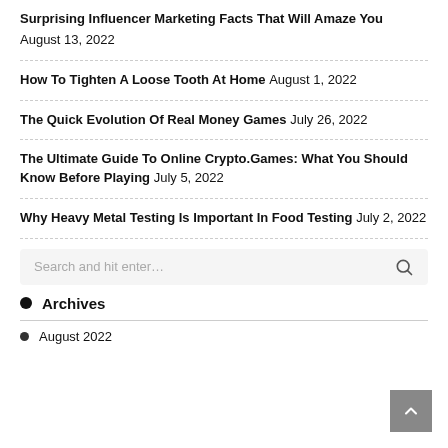Surprising Influencer Marketing Facts That Will Amaze You August 13, 2022
How To Tighten A Loose Tooth At Home August 1, 2022
The Quick Evolution Of Real Money Games July 26, 2022
The Ultimate Guide To Online Crypto.Games: What You Should Know Before Playing July 5, 2022
Why Heavy Metal Testing Is Important In Food Testing July 2, 2022
Search and hit enter...
Archives
August 2022